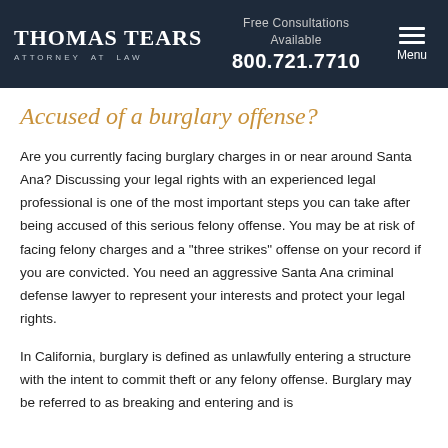THOMAS TEARS ATTORNEY AT LAW | Free Consultations Available | 800.721.7710 | Menu
Accused of a burglary offense?
Are you currently facing burglary charges in or near around Santa Ana? Discussing your legal rights with an experienced legal professional is one of the most important steps you can take after being accused of this serious felony offense. You may be at risk of facing felony charges and a "three strikes" offense on your record if you are convicted. You need an aggressive Santa Ana criminal defense lawyer to represent your interests and protect your legal rights.
In California, burglary is defined as unlawfully entering a structure with the intent to commit theft or any felony offense. Burglary may be referred to as breaking and entering and is